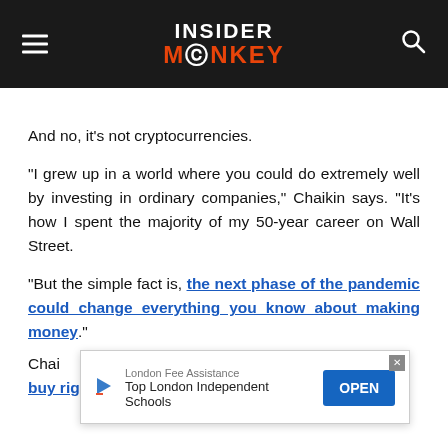INSIDER MONKEY
And no, it’s not cryptocurrencies.
“I grew up in a world where you could do extremely well by investing in ordinary companies,” Chaikin says. “It’s how I spent the majority of my 50-year career on Wall Street.
“But the simple fact is, the next phase of the pandemic could change everything you know about making money.”
[Figure (screenshot): Advertisement overlay: London Fee Assistance - Top London Independent Schools, with OPEN button]
Chai... ...t to buy right now, free of charge.